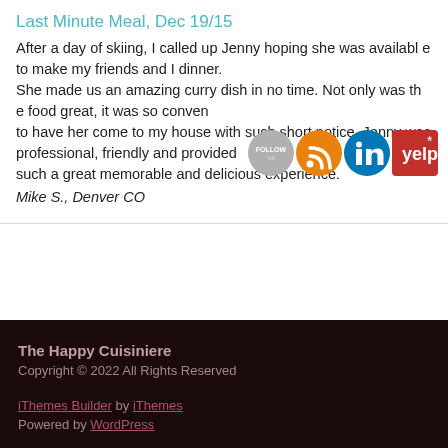Last Minute Meal, Dec 19/15
After a day of skiing, I called up Jenny hoping she was available to make my friends and I dinner. She made us an amazing curry dish in no time. Not only was the food great, it was so convenient to have her come to my house with such short notice. Jenny was professional, friendly and provided such a great memorable and delicious experience.
Mike S., Denver CO
[Figure (infographic): Social media follow/share icons: Follow button (grey), RSS (orange), LinkedIn (blue), Yelp (red with star)]
The Happy Cuisiniere
Copyright © 2022 All Rights Reserved
iThemes Builder by iThemes
Powered by WordPress